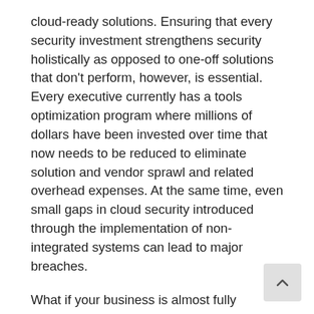cloud-ready solutions. Ensuring that every security investment strengthens security holistically as opposed to one-off solutions that don't perform, however, is essential. Every executive currently has a tools optimization program where millions of dollars have been invested over time that now needs to be reduced to eliminate solution and vendor sprawl and related overhead expenses. At the same time, even small gaps in cloud security introduced through the implementation of non-integrated systems can lead to major breaches.
What if your business is almost fully operated within the cloud? This is the easiest way for startups with investor funding to form, and organizations in this situation need to avoid the same sort of vendor sprawl and limited functionality caused by implementing isolated security solutions that more traditional networks have been wrestling with for years. The same issue around compatibility and consistent functionality also applies to